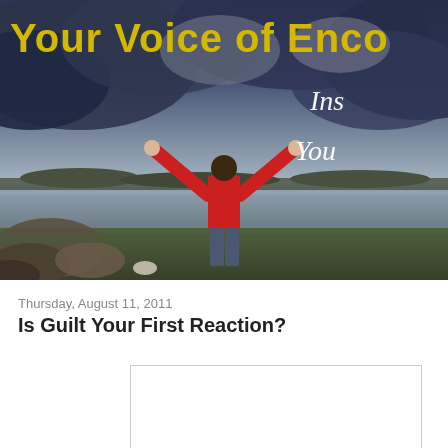[Figure (photo): Banner image showing a person in a red jacket with arms raised against a dramatic cloudy sky over a lake, with text 'Your Voice of Enco...' in yellow and 'Ins... Your...' in white italic on the right]
Thursday, August 11, 2011
Is Guilt Your First Reaction?
[Figure (other): Empty white content box with a border]